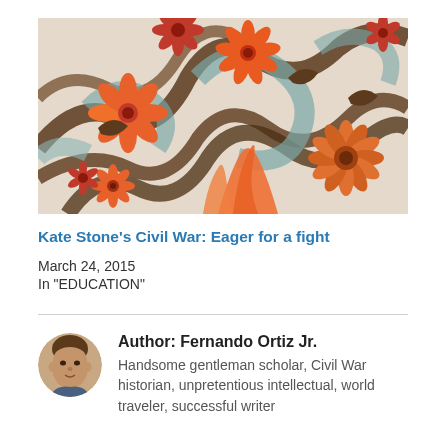[Figure (photo): Decorative floral fabric pattern with orange, red, brown, and teal motifs on a light background]
Kate Stone's Civil War: Eager for a fight
March 24, 2015
In "EDUCATION"
[Figure (photo): Author portrait — Fernando Ortiz Jr., a man photographed close-up]
Author: Fernando Ortiz Jr.
Handsome gentleman scholar, Civil War historian, unpretentious intellectual, world traveler, successful writer